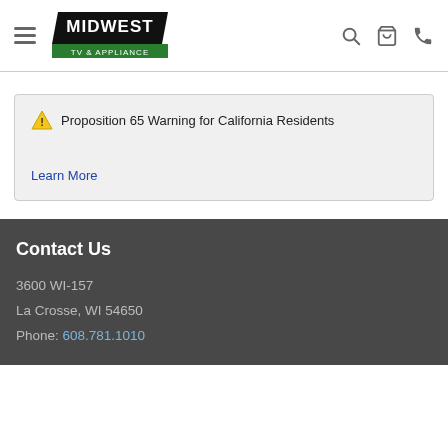Midwest TV & Appliance
⚠ Proposition 65 Warning for California Residents
Learn More
Contact Us
3600 WI-157
La Crosse, WI 54650
Phone: 608.781.1010